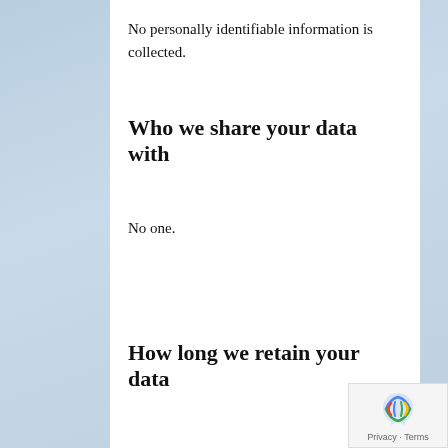No personally identifiable information is collected.
Who we share your data with
No one.
How long we retain your data
For users that register on our website (if any), we also store the personal information they provide in their user profile. All users can see, edit, or delete their personal information at any time (except they cannot change their username). Website administrators can also see and edit that